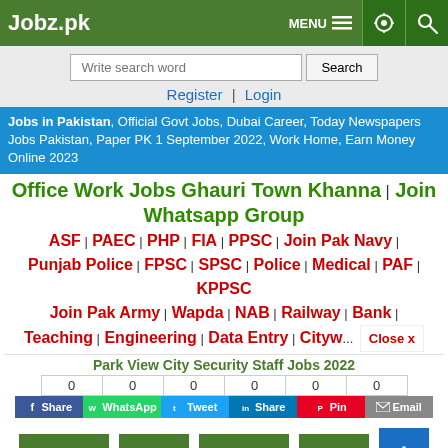Jobz.pk | MENU | [settings icon] | [search icon]
Write search word | Search
Register | Login
Jobs in Pakistan, Official Govt Jobs, Dubai Career, Today Newspapers Jobs Pakistan, Paper PK 1 September 2022, Work Home, Earn Money Online 2023
Office Work Jobs Ghauri Town Khanna | Join Whatsapp Group
ASF | PAEC | PHP | FIA | PPSC | Join Pak Navy | Punjab Police | FPSC | SPSC | Police | Medical | PAF | KPPSC
Join Pak Army | Wapda | NAB | Railway | Bank | Teaching | Engineering | Data Entry | Cityw...
Park View City Security Staff Jobs 2022
0 Share | 0 WhatsApp | 0 Tweet | 0 Share | 0 Pin | 0 Email
Job Closed | Save | Comment | Print